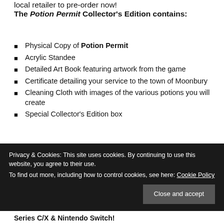local retailer to pre-order now!
The Potion Permit Collector's Edition contains:
Physical Copy of Potion Permit
Acrylic Standee
Detailed Art Book featuring artwork from the game
Certificate detailing your service to the town of Moonbury
Cleaning Cloth with images of the various potions you will create
Special Collector's Edition box
Privacy & Cookies: This site uses cookies. By continuing to use this website, you agree to their use. To find out more, including how to control cookies, see here: Cookie Policy
Close and accept
Series C/X & Nintendo Switch!